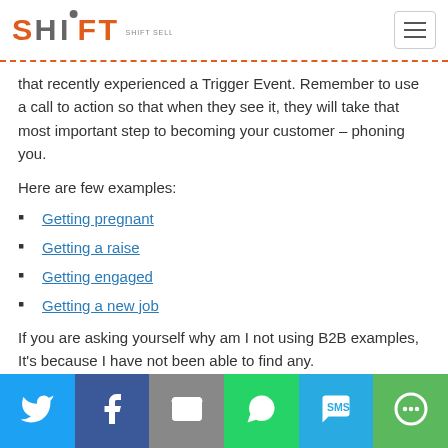SHIFT SELLING INC.
that recently experienced a Trigger Event. Remember to use a call to action so that when they see it, they will take that most important step to becoming your customer – phoning you.
Here are few examples:
Getting pregnant
Getting a raise
Getting engaged
Getting a new job
If you are asking yourself why am I not using B2B examples, It's because I have not been able to find any.